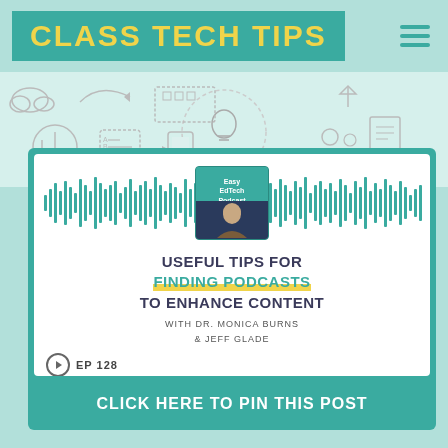CLASS TECH TIPS
[Figure (illustration): Doodle banner with education technology icons: lightbulb, arrows, person, checklist, devices, people, cloud]
[Figure (screenshot): Easy EdTech Podcast card with audio waveform and podcast thumbnail image]
USEFUL TIPS FOR FINDING PODCASTS TO ENHANCE CONTENT
WITH DR. MONICA BURNS & JEFF GLADE
EP 128
CLICK HERE TO PIN THIS POST